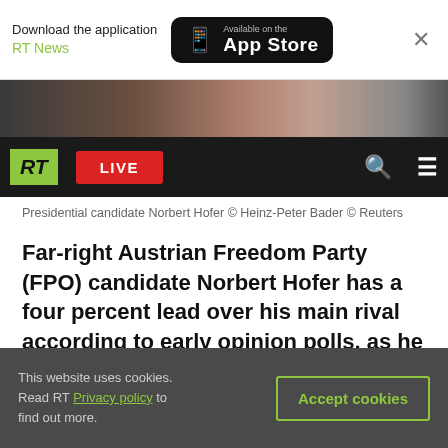Download the application RT News — Available on the App Store
[Figure (screenshot): RT news website navigation bar with RT logo, LIVE button, search and menu icons, and a partial photo of presidential candidate Norbert Hofer]
Presidential candidate Norbert Hofer © Heinz-Peter Bader © Reuters
Far-right Austrian Freedom Party (FPO) candidate Norbert Hofer has a four percent lead over his main rival according to early opinion polls, as he looks to win a repeat of the Austrian presidential election, which is due to be held in October.
Hofer received 52 percent of support from respondents, while his opponent, Alexander Van
This website uses cookies. Read RT Privacy policy to find out more. Accept cookies